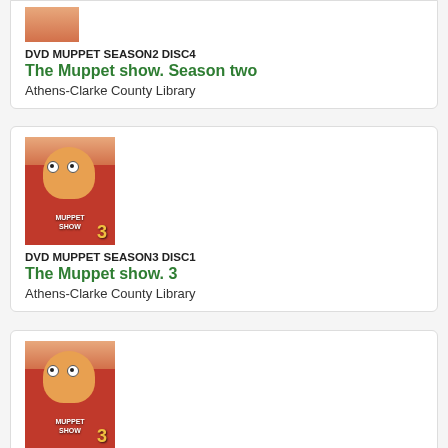[Figure (photo): Partial thumbnail of Muppet Show Season 2 DVD cover, cropped at top]
DVD MUPPET SEASON2 DISC4
The Muppet show. Season two
Athens-Clarke County Library
[Figure (photo): Thumbnail of The Muppet Show Season 3 DVD cover showing Fozzie Bear face with number 3]
DVD MUPPET SEASON3 DISC1
The Muppet show. 3
Athens-Clarke County Library
[Figure (photo): Thumbnail of The Muppet Show Season 3 DVD cover showing Fozzie Bear face with number 3]
DVD MUPPET SEASON3 DISC2
The Muppet show. 3